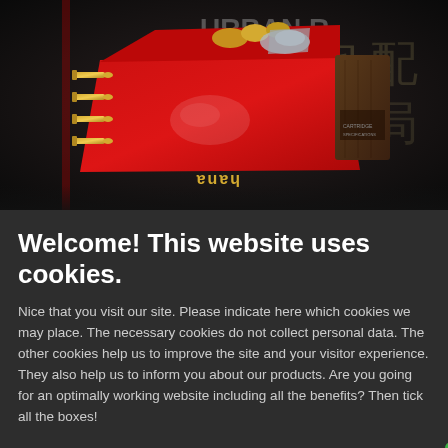[Figure (photo): Close-up photo of a red Hana phono cartridge with gold pins and cantilever assembly, photographed upside down showing the 'hana' brand name, against a dark background with blurred Japanese characters visible]
Welcome! This website uses cookies.
Nice that you visit our site. Please indicate here which cookies we may place. The necessary cookies do not collect personal data. The other cookies help us to improve the site and your visitor experience. They also help us to inform you about our products. Are you going for an optimally working website including all the benefits? Then tick all the boxes!